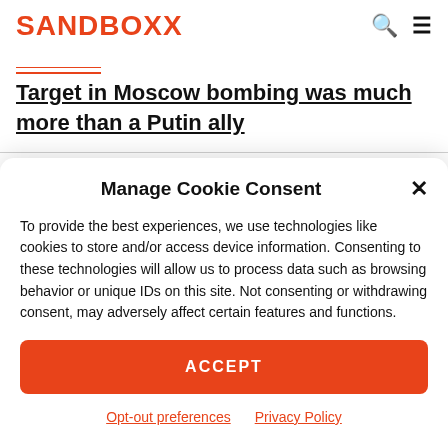SANDBOXX
Target in Moscow bombing was much more than a Putin ally
Manage Cookie Consent
To provide the best experiences, we use technologies like cookies to store and/or access device information. Consenting to these technologies will allow us to process data such as browsing behavior or unique IDs on this site. Not consenting or withdrawing consent, may adversely affect certain features and functions.
ACCEPT
Opt-out preferences
Privacy Policy